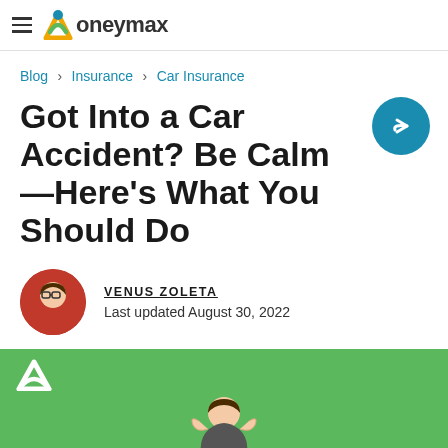Moneymax
Blog › Insurance › Car Insurance
Got Into a Car Accident? Be Calm—Here's What You Should Do
VENUS ZOLETA
Last updated August 30, 2022
[Figure (photo): Green banner section with Moneymax M logo and a person with hands on head at the bottom]